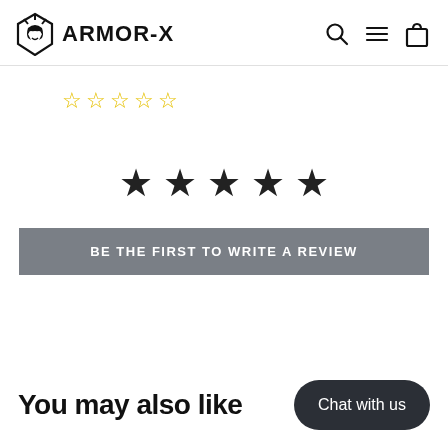ARMOR-X
[Figure (other): Five outline star icons in yellow indicating 0 out of 5 star rating]
[Figure (other): Five filled black star icons for rating selection]
BE THE FIRST TO WRITE A REVIEW
You may also like
Chat with us